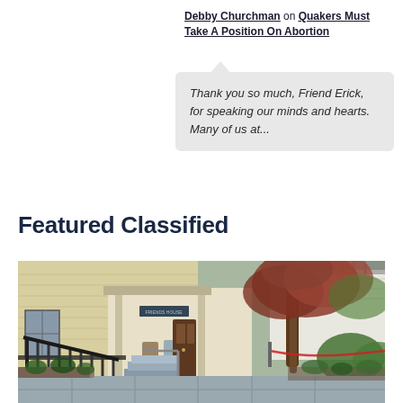Debby Churchman on Quakers Must Take A Position On Abortion
Thank you so much, Friend Erick, for speaking our minds and hearts. Many of us at...
Featured Classified
[Figure (photo): Exterior photo of a building with a covered porch, ramp with metal railing, steps with handrail, stone pathway, and a large tree with reddish foliage on the right side.]